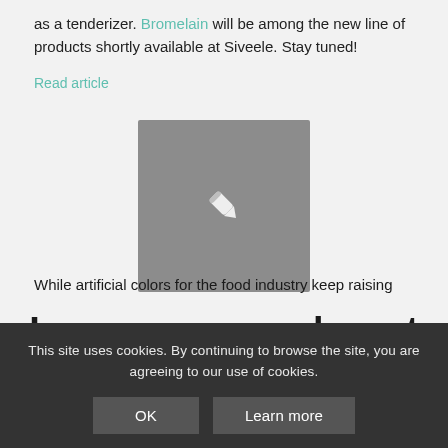as a tenderizer. Bromelain will be among the new line of products shortly available at Siveele. Stay tuned!
Read article
[Figure (illustration): Gray square placeholder box with a pencil/edit icon in the center]
Lycopene as colorant for surimi!
While artificial colors for the food industry keep raising
This site uses cookies. By continuing to browse the site, you are agreeing to our use of cookies.